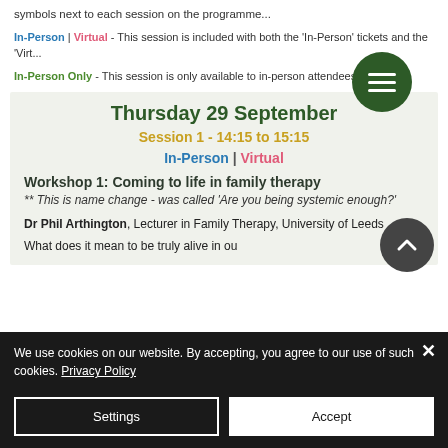symbols next to each session on the programme...
In-Person | Virtual - This session is included with both the 'In-Person' tickets and the 'Virtual'...
In-Person Only - This session is only available to in-person attendees.
Thursday 29 September
Session 1 - 14:15 to 15:15
In-Person | Virtual
Workshop 1:  Coming to life in family therapy
** This is name change - was called 'Are you being systemic enough?'
Dr Phil Arthington, Lecturer in Family Therapy, University of Leeds
What does it mean to be truly alive in ou...
We use cookies on our website. By accepting, you agree to our use of such cookies. Privacy Policy
Settings
Accept